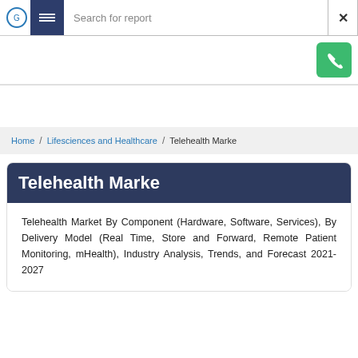Search for report
Home / Lifesciences and Healthcare / Telehealth Marke
Telehealth Marke
Telehealth Market By Component (Hardware, Software, Services), By Delivery Model (Real Time, Store and Forward, Remote Patient Monitoring, mHealth), Industry Analysis, Trends, and Forecast 2021-2027